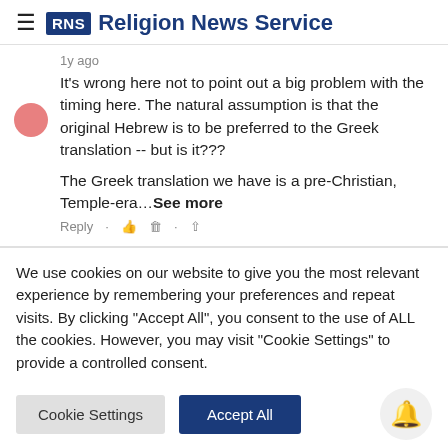RNS Religion News Service
1y ago
It's wrong here not to point out a big problem with the timing here. The natural assumption is that the original Hebrew is to be preferred to the Greek translation -- but is it???
The Greek translation we have is a pre-Christian, Temple-era…See more
Reply
We use cookies on our website to give you the most relevant experience by remembering your preferences and repeat visits. By clicking "Accept All", you consent to the use of ALL the cookies. However, you may visit "Cookie Settings" to provide a controlled consent.
Cookie Settings | Accept All